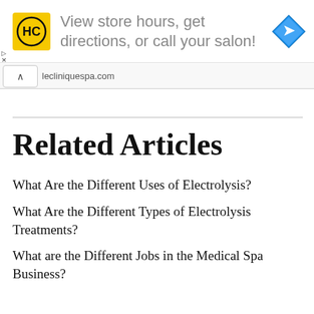[Figure (logo): Advertisement banner with HC yellow logo, text 'View store hours, get directions, or call your salon!' and a blue navigation diamond icon]
lecliniquespa.com
What Are the Different Uses of Electrolysis?
What Are the Different Types of Electrolysis Treatments?
What are the Different Jobs in the Medical Spa Business?